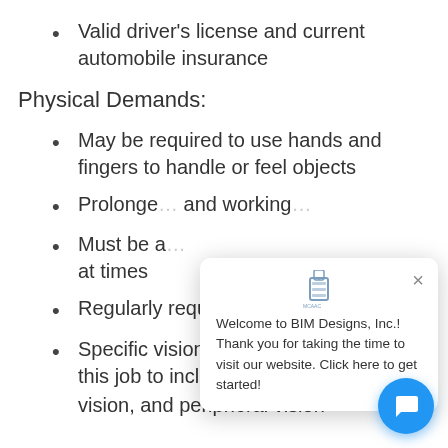Valid driver's license and current automobile insurance
Physical Demands:
May be required to use hands and fingers to handle or feel objects
Prolonged … and working …
Must be able … at times
Regularly required to talk or hear
Specific vision abilities required by this job to include close vision, distant vision, and peripheral vision
[Figure (screenshot): BIM Designs Inc. chat popup overlay with logo, close button, and welcome message: 'Welcome to BIM Designs, Inc.! Thank you for taking the time to visit our website. Click here to get started!']